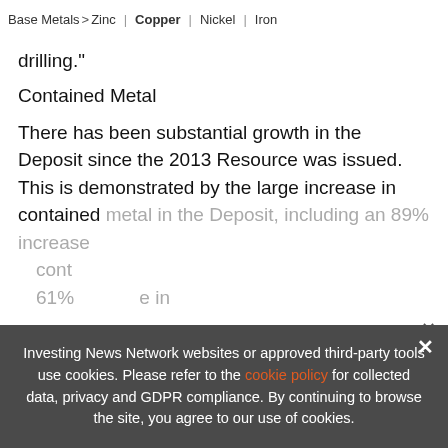Base Metals > Zinc | Copper | Nickel | Iron
drilling."
Contained Metal
There has been substantial growth in the Deposit since the 2013 Resource was issued. This is demonstrated by the large increase in contained metal in the Deposit, including an 89% increase cont... 61%... increase in
[Figure (infographic): 2022 BASE METALS OUTLOOK REPORT. TRENDS. FORECASTS. TOP STOCKS. Advertisement banner with orange arrow button and vertical orange bar, with close X button.]
Investing News Network websites or approved third-party tools use cookies. Please refer to the cookie policy for collected data, privacy and GDPR compliance. By continuing to browse the site, you agree to our use of cookies.